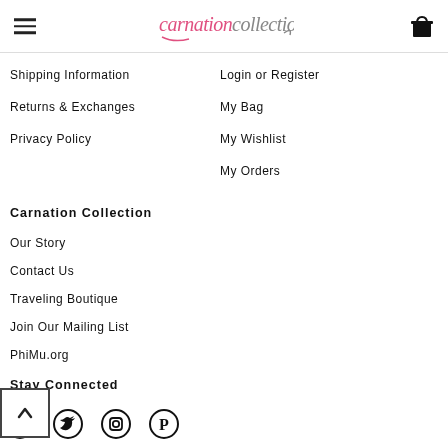carnationcollection (logo with hamburger menu and cart icon)
Shipping Information
Returns & Exchanges
Privacy Policy
Login or Register
My Bag
My Wishlist
My Orders
Carnation Collection
Our Story
Contact Us
Traveling Boutique
Join Our Mailing List
PhiMu.org
Stay Connected
[Figure (other): Social media icons: Facebook, Twitter, Instagram, Pinterest]